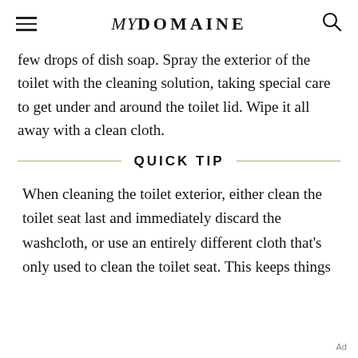MYDOMAINE
few drops of dish soap. Spray the exterior of the toilet with the cleaning solution, taking special care to get under and around the toilet lid. Wipe it all away with a clean cloth.
QUICK TIP
When cleaning the toilet exterior, either clean the toilet seat last and immediately discard the washcloth, or use an entirely different cloth that's only used to clean the toilet seat. This keeps things
Ad